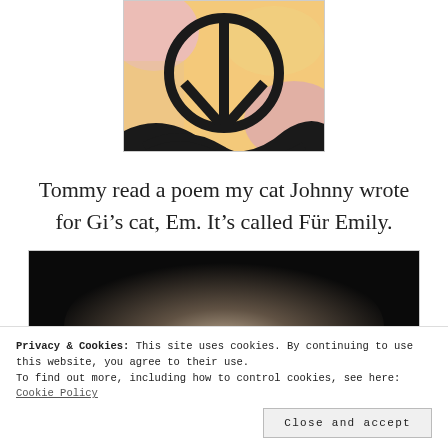[Figure (illustration): Colorful painting featuring a peace sign symbol with black outlines on a warm orange, yellow, and pink background with flowing abstract shapes.]
Tommy read a poem my cat Johnny wrote for Gi’s cat, Em. It’s called Für Emily.
[Figure (photo): Dark dramatic photo with a gradient from black at the top to lighter tones at center, appears to be the beginning of a portrait or artistic photograph.]
Privacy & Cookies: This site uses cookies. By continuing to use this website, you agree to their use.
To find out more, including how to control cookies, see here: Cookie Policy
Close and accept